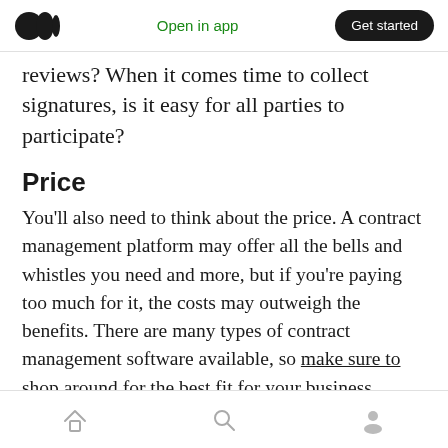Open in app | Get started
reviews? When it comes time to collect signatures, is it easy for all parties to participate?
Price
You'll also need to think about the price. A contract management platform may offer all the bells and whistles you need and more, but if you're paying too much for it, the costs may outweigh the benefits. There are many types of contract management software available, so make sure to shop around for the best fit for your business.
Home | Search | Profile